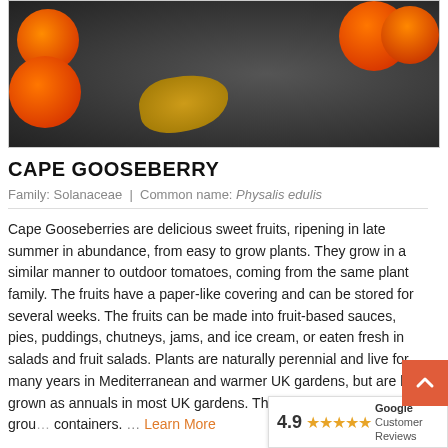[Figure (photo): Close-up photo of cape gooseberries (orange/red round fruits) with a dried physalis husk on a dark stone background]
CAPE GOOSEBERRY
Family: Solanaceae  |  Common name: Physalis edulis
Cape Gooseberries are delicious sweet fruits, ripening in late summer in abundance, from easy to grow plants. They grow in a similar manner to outdoor tomatoes, coming from the same plant family. The fruits have a paper-like covering and can be stored for several weeks. The fruits can be made into fruit-based sauces, pies, puddings, chutneys, jams, and ice cream, or eaten fresh in salads and fruit salads. Plants are naturally perennial and live for many years in Mediterranean and warmer UK gardens, but are best grown as annuals in most UK gardens. They grow well in open grou... containers. ... Learn More